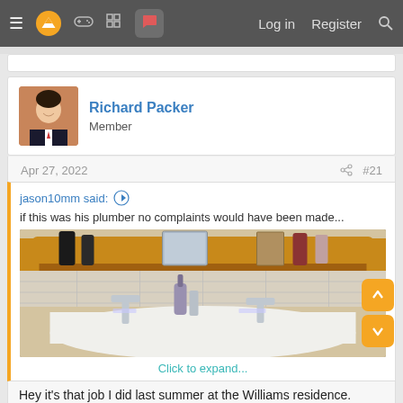≡  [logo]  [gamepad]  [grid]  [chat]    Log in   Register   [search]
Richard Packer
Member
Apr 27, 2022   #21
jason10mm said:
if this was his plumber no complaints would have been made...
[Figure (photo): Photo of a bathroom sink with fixtures, a wooden shelf behind with items on it, tiled backsplash]
Click to expand...
Hey it's that job I did last summer at the Williams residence.